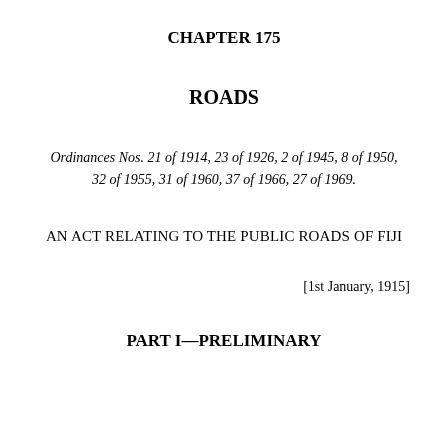CHAPTER 175
ROADS
Ordinances Nos. 21 of 1914, 23 of 1926, 2 of 1945, 8 of 1950, 32 of 1955, 31 of 1960, 37 of 1966, 27 of 1969.
AN ACT RELATING TO THE PUBLIC ROADS OF FIJI
[1st January, 1915]
PART I—PRELIMINARY